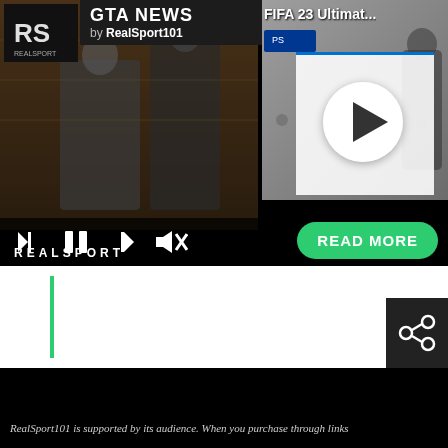[Figure (screenshot): RealSport101 GTA News media player widget showing a playlist with two video thumbnails. Left thumbnail shows GTA characters in action scene with 'GTA NEWS by RealSport101' banner. Right thumbnail shows FIFA 23 Ultimate with a play button overlay. Media player controls (skip back, pause, skip forward, mute) visible. Green READ MORE button on right. REALSPORT branding at bottom. Progress bar area below player. Share icon on right side. Black area and footer text at bottom.]
GTA NEWS
by RealSport101
FIFA 23 Ultimat...
READ MORE
REALSPORT
RealSport101 is supported by its audience. When you purchase through links